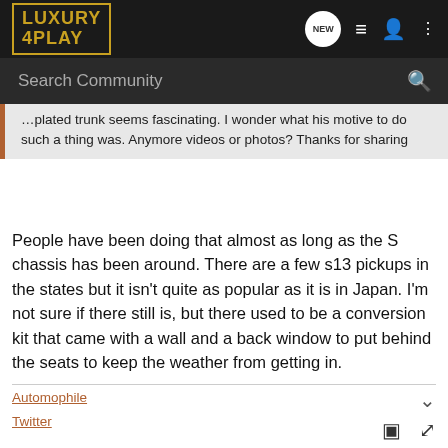LUXURY 4PLAY — navigation bar with search
plated trunk seems fascinating. I wonder what his motive to do such a thing was. Anymore videos or photos? Thanks for sharing
People have been doing that almost as long as the S chassis has been around. There are a few s13 pickups in the states but it isn't quite as popular as it is in Japan. I'm not sure if there still is, but there used to be a conversion kit that came with a wall and a back window to put behind the seats to keep the weather from getting in.
Automophile
Twitter